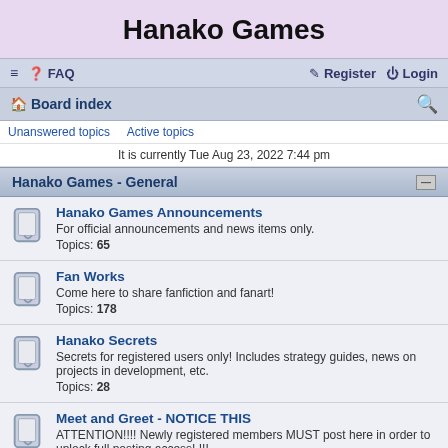Hanako Games
≡  FAQ   Register  Login
Board index
Unanswered topics   Active topics
It is currently Tue Aug 23, 2022 7:44 pm
Hanako Games - General
Hanako Games Announcements
For official announcements and news items only.
Topics: 65
Fan Works
Come here to share fanfiction and fanart!
Topics: 178
Hanako Secrets
Secrets for registered users only! Includes strategy guides, news on projects in development, etc.
Topics: 28
Meet and Greet - NOTICE THIS
ATTENTION!!!! Newly registered members MUST post here in order to unlock full posting access! !!!
Topics: 1
Individual Games
Night Cascades
Two women must work together to solve an occult mystery in this yuri visual novel.